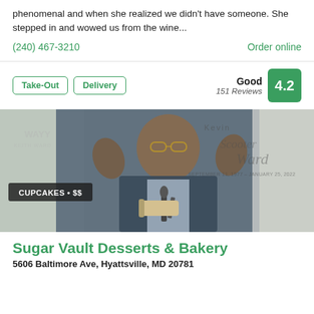phenomenal and when she realized we didn't have someone. She stepped in and wowed us from the wine...
(240) 467-3210
Order online
Take-Out
Delivery
Good
151 Reviews
4.2
[Figure (photo): Photo of a man in a suit laughing with hands raised, overlaid with memorial text reading 'Kevin Scooter Ward, September 11, 1977 - January 25, 2022'. A badge reads 'CUPCAKES • $$'.]
Sugar Vault Desserts & Bakery
5606 Baltimore Ave, Hyattsville, MD 20781